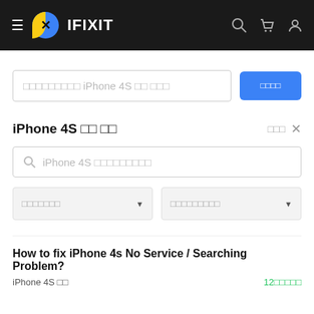≡ IFIXIT
□□□□□□□□□ iPhone 4S □□ □□□
□□□□
iPhone 4S □□ □□
iPhone 4S □□□□□□□□□
□□□□□□□
□□□□□□□□□
How to fix iPhone 4s No Service / Searching Problem?
iPhone 4S □□   12□□□□□